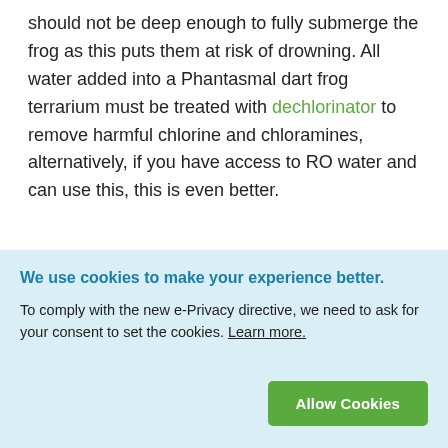should not be deep enough to fully submerge the frog as this puts them at risk of drowning. All water added into a Phantasmal dart frog terrarium must be treated with dechlorinator to remove harmful chlorine and chloramines, alternatively, if you have access to RO water and can use this, this is even better.
How do I decorate a Phantasmal dart frog terrarium?
Keeping Phantasmal dart frogs gives you the
We use cookies to make your experience better.
To comply with the new e-Privacy directive, we need to ask for your consent to set the cookies. Learn more.